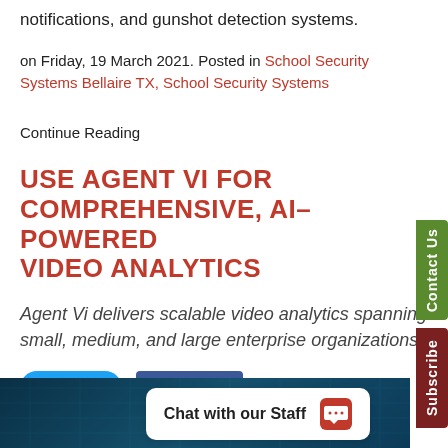notifications, and gunshot detection systems.
on Friday, 19 March 2021. Posted in School Security Systems Bellaire TX, School Security Systems
Continue Reading
USE AGENT VI FOR COMPREHENSIVE, AI-POWERED VIDEO ANALYTICS
Agent Vi delivers scalable video analytics spanning small, medium, and large enterprise organizations
Tweet   Like 0
[Figure (screenshot): Dark blue digital background image with chat overlay showing 'Chat with our Staff' dialog]